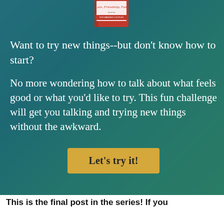[Figure (illustration): Book cover for a couples activity book with text 'Love, Friendship, Fun. FOR MARRIED COUPLES' on a teal/green blurred background]
Want to try new things--but don't know how to start?
No more wondering how to talk about what feels good or what you'd like to try. This fun challenge will get you talking and trying new things without the awkward.
Let's try it!
This is the final post in the series! If you